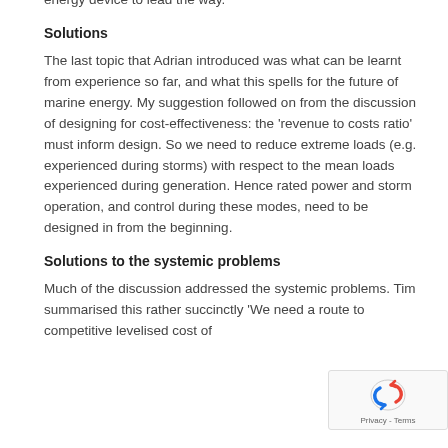energy device to lead the way.
Solutions
The last topic that Adrian introduced was what can be learnt from experience so far, and what this spells for the future of marine energy. My suggestion followed on from the discussion of designing for cost-effectiveness: the 'revenue to costs ratio' must inform design. So we need to reduce extreme loads (e.g. experienced during storms) with respect to the mean loads experienced during generation. Hence rated power and storm operation, and control during these modes, need to be designed in from the beginning.
Solutions to the systemic problems
Much of the discussion addressed the systemic problems. Tim summarised this rather succinctly 'We need a route to competitive levelised cost of